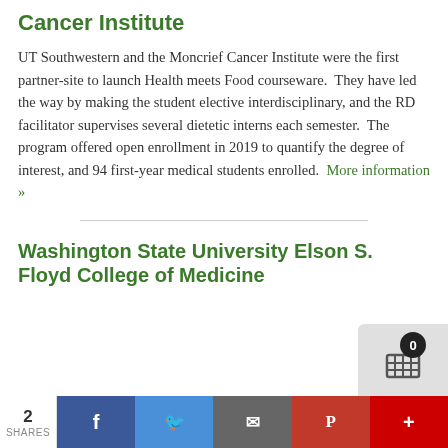Cancer Institute
UT Southwestern and the Moncrief Cancer Institute were the first partner-site to launch Health meets Food courseware.  They have led the way by making the student elective interdisciplinary, and the RD facilitator supervises several dietetic interns each semester.  The program offered open enrollment in 2019 to quantify the degree of interest, and 94 first-year medical students enrolled.  More information »
Washington State University Elson S. Floyd College of Medicine